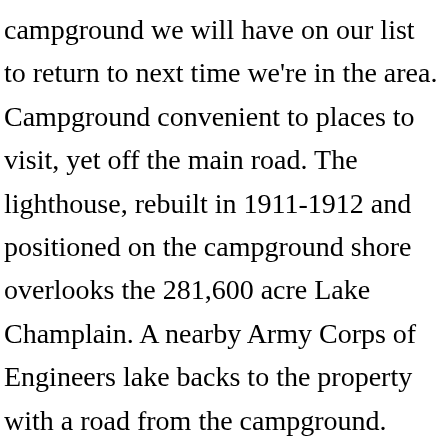campground we will have on our list to return to next time we're in the area. Campground convenient to places to visit, yet off the main road. The lighthouse, rebuilt in 1911-1912 and positioned on the campground shore overlooks the 281,600 acre Lake Champlain. A nearby Army Corps of Engineers lake backs to the property with a road from the campground. more. more Welcome to the Strafford / Lake Winnipesaukee South KOA! Campsite Photo Database for Crown Point Campground in the Adirondack Park region of